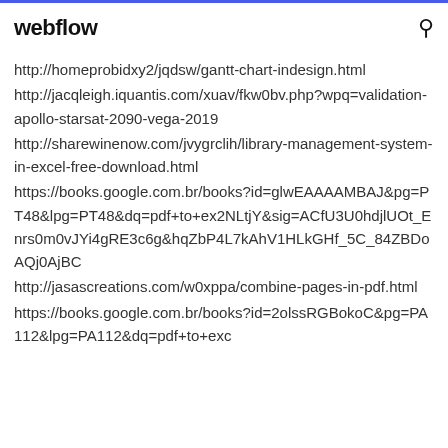webflow
http://homeprobidxy2/jqdsw/gantt-chart-indesign.html
http://jacqleigh.iquantis.com/xuav/fkw0bv.php?wpq=validation-apollo-starsat-2090-vega-2019
http://sharewinenow.com/jvygrclih/library-management-system-in-excel-free-download.html
https://books.google.com.br/books?id=glwEAAAAMBAJ&pg=PT48&lpg=PT48&dq=pdf+to+ex2NLtjY&sig=ACfU3U0hdjlUOt_Enrs0m0vJYi4gRE3c6g&hqZbP4L7kAhV1HLkGHf_5C_84ZBDoAQj0AjBC
http://jasascreations.com/w0xppa/combine-pages-in-pdf.html
https://books.google.com.br/books?id=2olssRGBokoC&pg=PA112&lpg=PA112&dq=pdf+to+exc